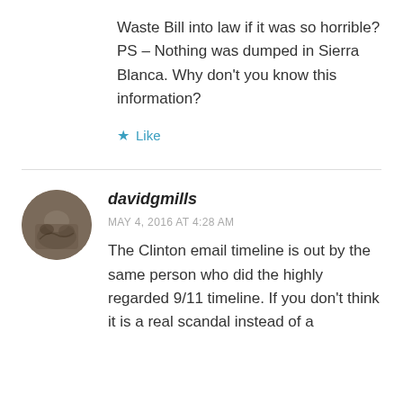Waste Bill into law if it was so horrible? PS – Nothing was dumped in Sierra Blanca. Why don't you know this information?
★ Like
davidgmills
MAY 4, 2016 AT 4:28 AM
The Clinton email timeline is out by the same person who did the highly regarded 9/11 timeline. If you don't think it is a real scandal instead of a